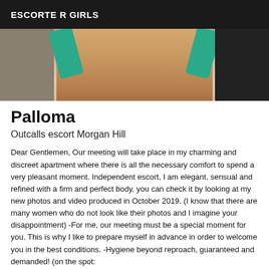ESCORTE R GIRLS
[Figure (photo): Cropped photo showing legs of a person wearing green/teal fabric, with dark background on sides]
Palloma
Outcalls escort Morgan Hill
Dear Gentlemen, Our meeting will take place in my charming and discreet apartment where there is all the necessary comfort to spend a very pleasant moment. Independent escort, I am elegant, sensual and refined with a firm and perfect body, you can check it by looking at my new photos and video produced in October 2019. (I know that there are many women who do not look like their photos and I imagine your disappointment) -For me, our meeting must be a special moment for you. This is why I like to prepare myself in advance in order to welcome you in the best conditions. -Hygiene beyond reproach, guaranteed and demanded! (on the spot: